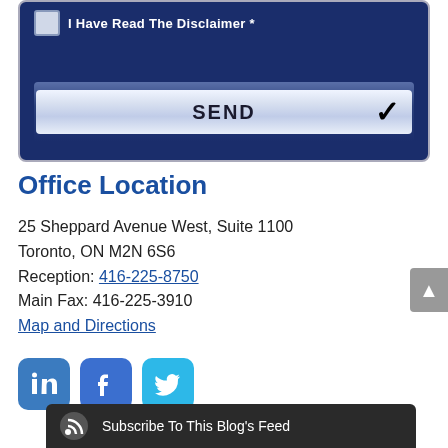[Figure (screenshot): Dark blue form area with a checkbox labeled 'I Have Read The Disclaimer' and a SEND button with a checkmark]
Office Location
25 Sheppard Avenue West, Suite 1100
Toronto, ON M2N 6S6
Reception: 416-225-8750
Main Fax: 416-225-3910
Map and Directions
[Figure (illustration): Social media icons: LinkedIn, Facebook, Twitter]
Subscribe To This Blog's Feed